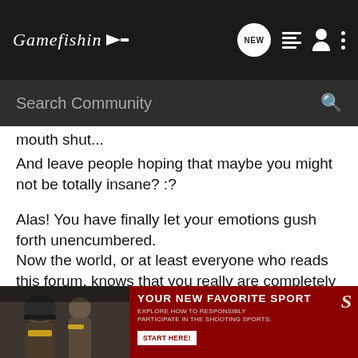Gamefishin [logo with arrow] | NEW | list icon | user icon | menu icon
Search Community
mouth shut...
And leave people hoping that maybe you might not be totally insane? :?
Alas! You have finally let your emotions gush forth unencumbered.
Now the world, or at least everyone who reads this forum, knows that you really are completely out of touch with reality.
And that is OK! There is no healing with suppressing your inner demons!
Now that they are in the open you have a chance to deal with them. :roll:
But! You
[Figure (photo): Advertisement banner: photo of people with shooting sports gear on the left, red background on right with text 'YOUR NEW FAVORITE SPORT', 'EXPLORE HOW TO RESPONSIBLY PARTICIPATE IN THE SHOOTING SPORTS.', 'START HERE!' button, and 'S' logo.]